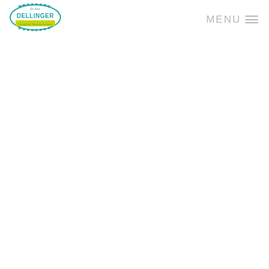[Figure (logo): Dr. Ann Dellinger orthodontic specialty services logo: oval teal border with tooth/bracket chain around the oval, 'DELLINGER' in large teal letters in center, 'Dr. Ann' in small text above, yellow-green rectangle banner below with 'Orthodontic Specialty Services' in teal text]
MENU ≡